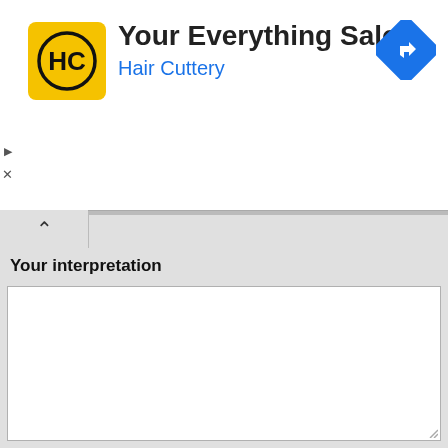[Figure (logo): Hair Cuttery logo - yellow/gold square with HC letters in black circle, rounded corners]
Your Everything Salon
Hair Cuttery
[Figure (illustration): Blue diamond-shaped navigation/directions icon with white right-turn arrow]
Your interpretation